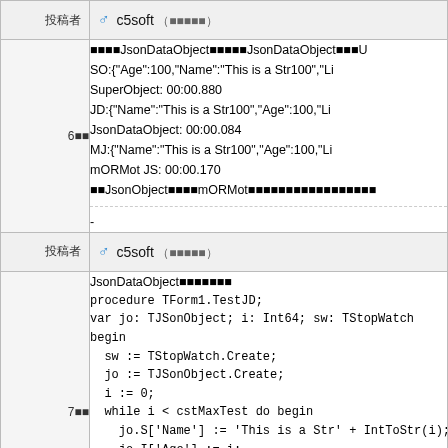| 投稿者 | ♂ c5soft (■■■■■) |
| 6■■ | ■■■■JsonDataObject■■■■■JsonDataObject■■■U...
SO:{"Age":100,"Name":"This is a Str100","Li...
SuperObject: 00:00.880
JD:{"Name":"This is a Str100","Age":100,"Li...
JsonDataObject: 00:00.084
MJ:{"Name":"This is a Str100","Age":100,"Li...
mORMot JS: 00:00.170
■■JsonObject■■■■mORMot■■■■■■■■■■■■■■...
- |
| 投稿者 | ♂ c5soft (■■■■■) |
| 7■■ | JsonDataObject■■■■■■■
procedure TForm1.TestJD;
var jo: TJSonObject; i: Int64; sw: TStopWatch...
begin
  sw := TStopWatch.Create;
  jo := TJSonObject.Create;
  i := 0;
  while i < cstMaxTest do begin
    jo.S['Name'] := 'This is a Str' + IntToStr(i);
    jo.I['Age'] := i;
    jo.A['List'] :=TJSonArray(TJSonObject.Par...
    if i = 100 then
      Log('JD:' + jo.ToJSon());
    inc(i); |